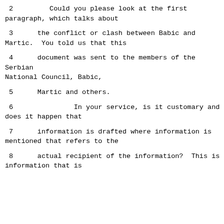2          Could you please look at the first paragraph, which talks about
3      the conflict or clash between Babic and Martic.  You told us that this
4      document was sent to the members of the Serbian National Council, Babic,
5      Martic and others.
6               In your service, is it customary and does it happen that
7      information is drafted where information is mentioned that refers to the
8      actual recipient of the information?  This is information that is